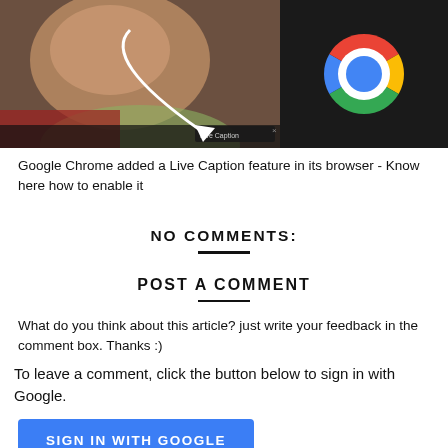[Figure (screenshot): Screenshot of a webpage showing a person's face partially visible and the Google Chrome logo on the right, with a 'Live Caption' overlay at the bottom left.]
Google Chrome added a Live Caption feature in its browser - Know here how to enable it
NO COMMENTS:
POST A COMMENT
What do you think about this article? just write your feedback in the comment box. Thanks :)
To leave a comment, click the button below to sign in with Google.
SIGN IN WITH GOOGLE